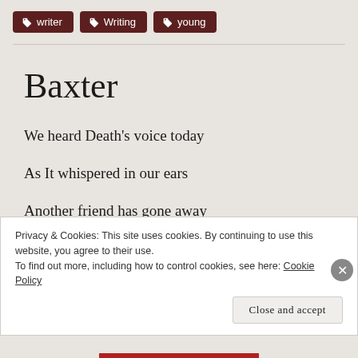writer
Writing
young
Baxter
We heard Death's voice today
As It whispered in our ears
Another friend has gone away
Privacy & Cookies: This site uses cookies. By continuing to use this website, you agree to their use. To find out more, including how to control cookies, see here: Cookie Policy
Close and accept